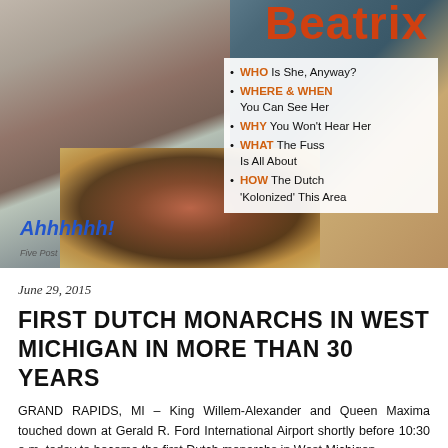[Figure (photo): Magazine cover showing Queen Beatrix of the Netherlands with a blue/black hat and floral dress, holding flowers. Orange and white magazine cover text with bullet points listing WHO, WHERE & WHEN, WHY, WHAT, HOW. Text 'Ahhhhhh!' in blue at bottom left.]
June 29, 2015
FIRST DUTCH MONARCHS IN WEST MICHIGAN IN MORE THAN 30 YEARS
GRAND RAPIDS, MI – King Willem-Alexander and Queen Maxima touched down at Gerald R. Ford International Airport shortly before 10:30 a.m. today to become the first Dutch monarchs in West Michigan